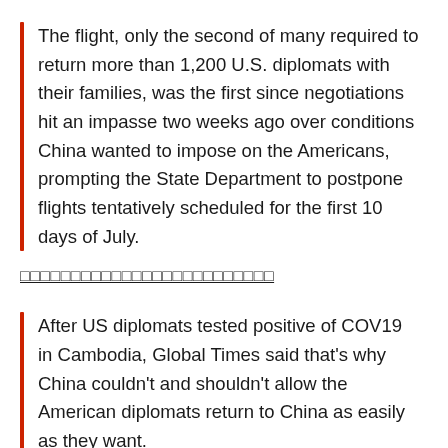The flight, only the second of many required to return more than 1,200 U.S. diplomats with their families, was the first since negotiations hit an impasse two weeks ago over conditions China wanted to impose on the Americans, prompting the State Department to postpone flights tentatively scheduled for the first 10 days of July.
□□□□□□□□□□□□□□□□□□□□□□□□□□
After US diplomats tested positive of COV19 in Cambodia, Global Times said that's why China couldn't and shouldn't allow the American diplomats return to China as easily as they want.
Will there be a war between China and the US? - Global Times - Hu Xijin